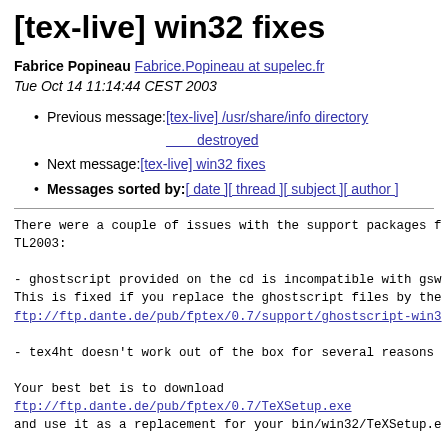[tex-live] win32 fixes
Fabrice Popineau Fabrice.Popineau at supelec.fr
Tue Oct 14 11:14:44 CEST 2003
Previous message: [tex-live] /usr/share/info directory destroyed
Next message: [tex-live] win32 fixes
Messages sorted by: [ date ] [ thread ] [ subject ] [ author ]
There were a couple of issues with the support packages f
TL2003:

- ghostscript provided on the cd is incompatible with gs
This is fixed if you replace the ghostscript files by the
ftp://ftp.dante.de/pub/fptex/0.7/support/ghostscript-win3

- tex4ht doesn't work out of the box for several reasons

Your best bet is to download
ftp://ftp.dante.de/pub/fptex/0.7/TeXSetup.exe
and use it as a replacement for your bin/win32/TeXSetup.e

Then, you have to upgrade ImageMagick by using the mainte
TeXSetup --maintenance